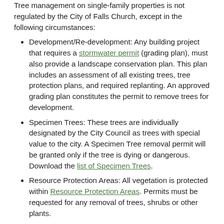Tree management on single-family properties is not regulated by the City of Falls Church, except in the following circumstances:
Development/Re-development: Any building project that requires a stormwater permit (grading plan), must also provide a landscape conservation plan. This plan includes an assessment of all existing trees, tree protection plans, and required replanting. An approved grading plan constitutes the permit to remove trees for development.
Specimen Trees: These trees are individually designated by the City Council as trees with special value to the city. A Specimen Tree removal permit will be granted only if the tree is dying or dangerous. Download the list of Specimen Trees.
Resource Protection Areas: All vegetation is protected within Resource Protection Areas. Permits must be requested for any removal of trees, shrubs or other plants.
Commercial and Multi-Family Properties
Commercial and multi-family sites must maintain all of the plantings that are shown on their original site plans. Any tree removal on these properties requires a permit, and the tree must be replaced.
Tree Service Contractor Permits
Tree service companies performing work for customers within the City of